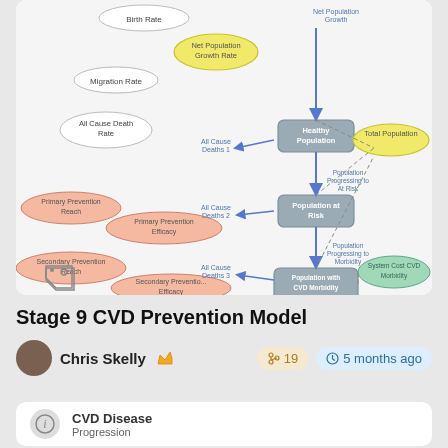[Figure (flowchart): Stage 9 CVD Prevention Model flowchart showing population health states: Healthy Population, Population at Risk, Population with CVD Morbidity, End of Life Population, with prevention interventions (Primary Prevention Reach/Efficacy, Secondary Prevention Reach/Efficacy, CVD Treatment Reach), rates (Birth Rate, Migration Rate, All Cause Death Rate), cost outcomes (System Cost CVD Morbidity, System Cost End of Life Care, Cost Increases), and treatment limit reached node. Arrows show transitions between states with dashed feedback arrows to Total Population.]
Stage 9 CVD Prevention Model
Chris Skelly 🜲 19  5 months ago
CVD Disease Progression